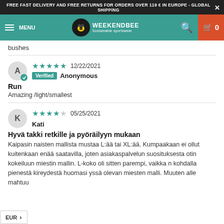FREE FAST DELIVERY AND FREE RETURNS FOR ORDERS OVER 119 € IN EUROPE - GLOBAL SHIPPING
[Figure (screenshot): Weekendbee sustainable sportswear website navigation bar with hamburger menu, bee logo, search icon and shopping cart]
bushes
★★★★★  12/22/2021  Verified  Anonymous
Run
Amazing /light/smallest
★★★★☆  05/25/2021  Kati
Hyvä takki retkille ja pyöräilyyn mukaan
Kaipasin naisten mallista mustaa L:ää tai XL:ää. Kumpaakaan ei ollut kuitenkaan enää saatavilla, joten asiakaspalvelun suosituksesta otin kokeiluun miestin mallin. L-koko oli sitten parempi, vaikka n kohdalla pienestä kireydestä huomasi yssä olevan miesten malli. Muuten alle mahtuu